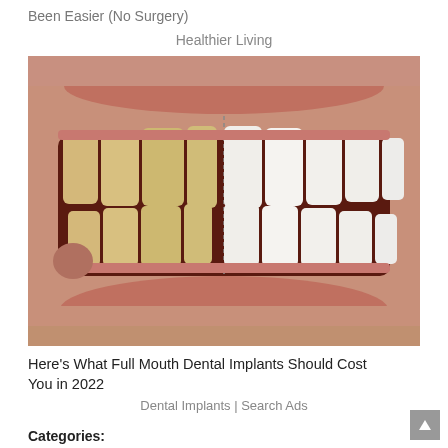Been Easier (No Surgery)
Healthier Living
[Figure (photo): Close-up comparison photo of a person's smile showing yellow/discolored teeth on the left half and bright white teeth on the right half, illustrating a before-and-after dental treatment result.]
Here’s What Full Mouth Dental Implants Should Cost You in 2022
Dental Implants | Search Ads
Categories: